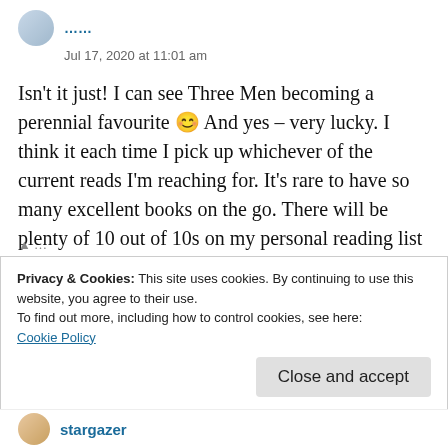Jul 17, 2020 at 11:01 am
Isn't it just! I can see Three Men becoming a perennial favourite 😊 And yes – very lucky. I think it each time I pick up whichever of the current reads I'm reaching for. It's rare to have so many excellent books on the go. There will be plenty of 10 out of 10s on my personal reading list this summer!
Privacy & Cookies: This site uses cookies. By continuing to use this website, you agree to their use.
To find out more, including how to control cookies, see here:
Cookie Policy
Close and accept
stargazer